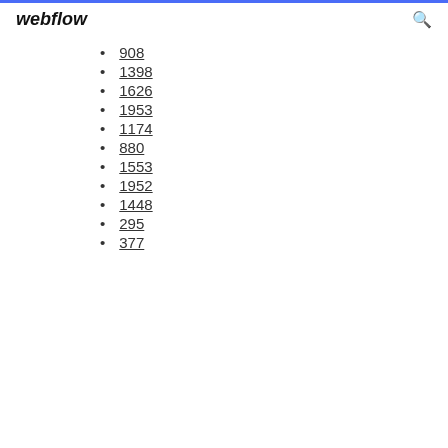webflow
908
1398
1626
1953
1174
880
1553
1952
1448
295
377